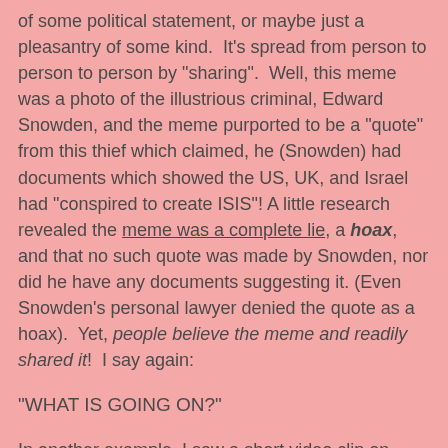of some political statement, or maybe just a pleasantry of some kind.  It's spread from person to person to person by "sharing".  Well, this meme was a photo of the illustrious criminal, Edward Snowden, and the meme purported to be a "quote" from this thief which claimed, he (Snowden) had documents which showed the US, UK, and Israel had "conspired to create ISIS"! A little research revealed the meme was a complete lie, a hoax, and that no such quote was made by Snowden, nor did he have any documents suggesting it. (Even Snowden's personal lawyer denied the quote as a hoax).  Yet, people believe the meme and readily shared it!  I say again:
"WHAT IS GOING ON?"
In another example, I saw a short video clip on FaceBook of a middle eastern man in a white robe (known as a thawb or thobe), riding one of those two-wheeled "hoverboards" (you know, the kind in the news recently, warning the public of the fact that many were catching on fire).  The man fell and when he hit the ground, "he" blew up! Of course the video was intended to be a "ha ha" moment for some unfortunate